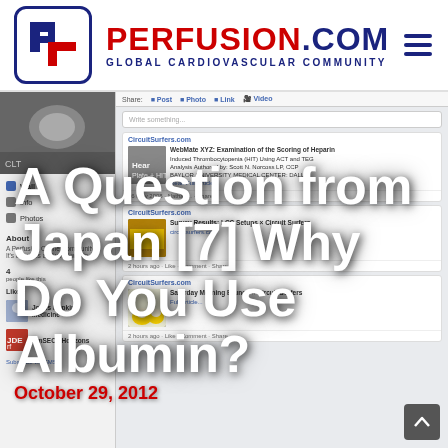[Figure (logo): Perfusion.com logo with blue rounded-square icon containing stylized P and L letters in red, with text PERFUSION.COM in red and GLOBAL CARDIOVASCULAR COMMUNITY in navy blue]
A Question from Japan [7] Why Do You Use Albumin?
[Figure (screenshot): Screenshot of a Facebook page for CircuitSurfers.com showing posts about HIT (Heparin Induced Thrombocytopenia), LCC Setups survey, and Saturday Morning Brunch, with a sidebar showing Wall, Info, Photos navigation, About section, Likes including Johns Hopkins Medicine and AmSECT Horizons]
October 29, 2012